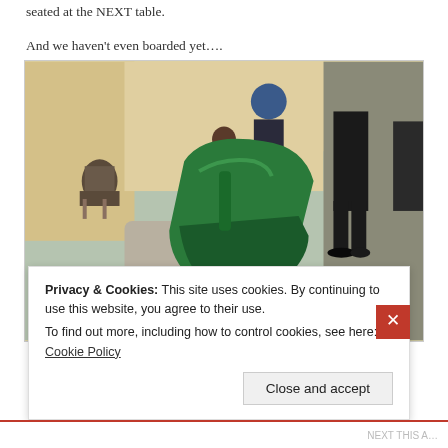Says the Lips pointing at the Japanese business men seated at the NEXT table.
And we haven't even boarded yet….
[Figure (photo): A person holding a green travel iron in an airport waiting area. Other travelers are seated and standing in the background.]
Privacy & Cookies: This site uses cookies. By continuing to use this website, you agree to their use.
To find out more, including how to control cookies, see here: Cookie Policy
Close and accept